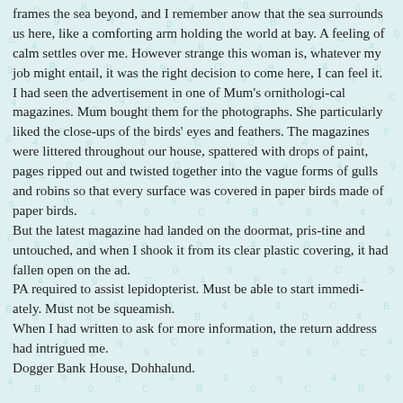frames the sea beyond, and I remember anow that the sea surrounds us here, like a comforting arm holding the world at bay. A feeling of calm settles over me. However strange this woman is, whatever my job might entail, it was the right decision to come here, I can feel it.
	I had seen the advertisement in one of Mum's ornithologi-cal magazines. Mum bought them for the photographs. She particularly liked the close-ups of the birds' eyes and feathers. The magazines were littered throughout our house, spattered with drops of paint, pages ripped out and twisted together into the vague forms of gulls and robins so that every surface was covered in paper birds made of paper birds.
	But the latest magazine had landed on the doormat, pris-tine and untouched, and when I shook it from its clear plastic covering, it had fallen open on the ad.
	PA required to assist lepidopterist. Must be able to start immedi-ately. Must not be squeamish.
	When I had written to ask for more information, the return address had intrigued me.
	Dogger Bank House, Dohhalund.